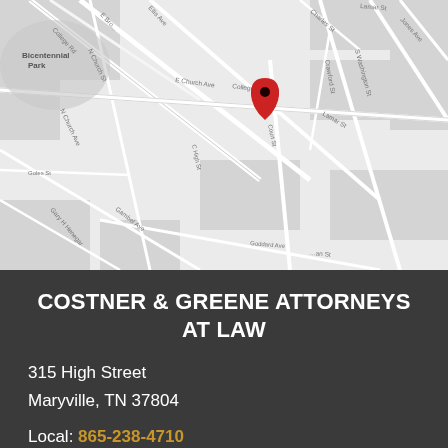[Figure (map): Google Maps style street map showing the area around 315 High Street, Maryville, TN. A red location pin marker is visible near the center-top of the map. Streets visible include College St, E Church Ave, Ellis Ave, High St, Court St, Courthouse area, Lamar St, S Washington St, Gambel Ave, Gaddard Ave, Gary H Henegar Tr, N Church Ave, and Bicentennial Park label in upper left. The map uses a grayscale/light color scheme.]
COSTNER & GREENE ATTORNEYS AT LAW
315 High Street
Maryville, TN 37804
Local: 865-238-4710